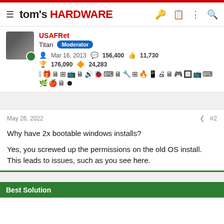tom's HARDWARE
USAFRet
Titan Moderator
Mar 16, 2013  156,400  11,730
176,090  24,283
May 26, 2022  #2
Why have 2x bootable windows installs?
Yes, you screwed up the permissions on the old OS install. This leads to issues, such as you see here.
Best Solution